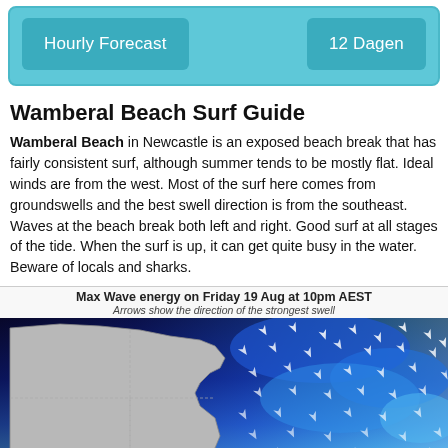[Figure (other): Two navigation buttons: 'Hourly Forecast' on the left and '12 Dagen' on the right, styled as teal rounded rectangles on a teal panel background]
Wamberal Beach Surf Guide
Wamberal Beach in Newcastle is an exposed beach break that has fairly consistent surf, although summer tends to be mostly flat. Ideal winds are from the west. Most of the surf here comes from groundswells and the best swell direction is from the southeast. Waves at the beach break both left and right. Good surf at all stages of the tide. When the surf is up, it can get quite busy in the water. Beware of locals and sharks.
Max Wave energy on Friday 19 Aug at 10pm AEST
Arrows show the direction of the strongest swell
[Figure (map): Wave energy map showing Australia with blue ocean color gradients indicating max wave energy on Friday 19 Aug at 10pm AEST. Arrow markers show direction of strongest swell across the ocean.]